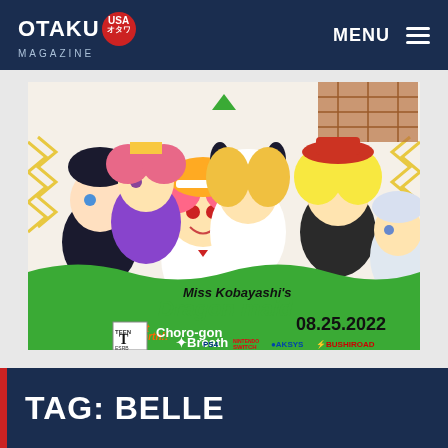OTAKU USA MAGAZINE | MENU
[Figure (illustration): Miss Kobayashi's Dragon Maid Burst Forth!! Choro-gon Breath game promotional banner featuring anime characters and release date 08.25.2022, available on PS4, Nintendo Switch, published by Aksys and Bushiroad. TEEN ESRB rating.]
TAG: BELLE